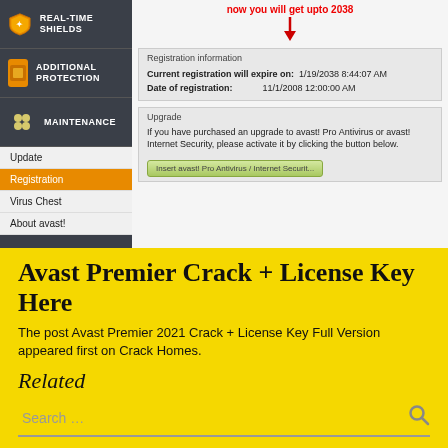[Figure (screenshot): Avast antivirus registration screen showing sidebar with Real-time Shields, Additional Protection, Maintenance, Update, Registration (active), Virus Chest, About avast! menu items. Main panel shows red text 'now you will get upto 2038' with arrow pointing to registration info: Current registration will expire on 1/19/2038 8:44:07 AM, Date of registration: 11/1/2008 12:00:00 AM. Upgrade section with button 'Insert avast! Pro Antivirus / Internet Security'.]
Avast Premier Crack + License Key Here
The post Avast Premier 2021 Crack + License Key Full Version appeared first on Crack Homes.
Related
Search …
New News